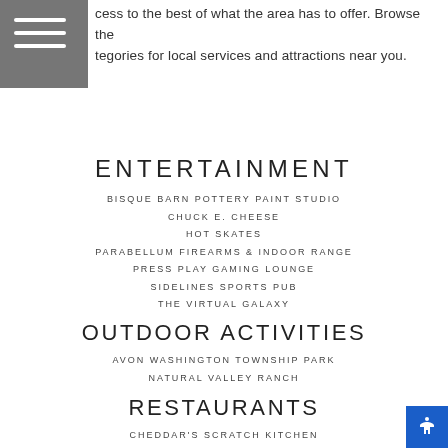cess to the best of what the area has to offer. Browse the tegories for local services and attractions near you.
ENTERTAINMENT
BISQUE BARN POTTERY PAINT STUDIO
CHUCK E. CHEESE
HOT SKATES
PARABELLUM FIREARMS & INDOOR RANGE
PRESS PLAY GAMING LOUNGE
SIDELINES SPORTS PUB
THE VIRTUAL GALAXY
OUTDOOR ACTIVITIES
AVON WASHINGTON TOWNSHIP PARK
NATURAL VALLEY RANCH
RESTAURANTS
CHEDDAR'S SCRATCH KITCHEN